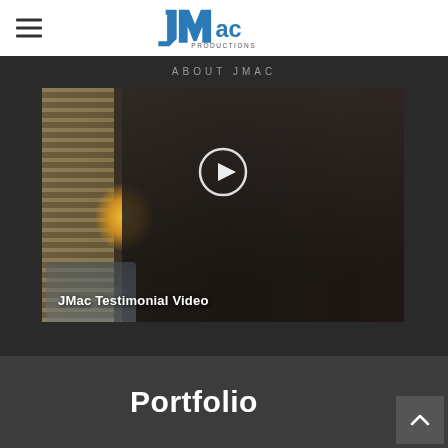JMac Productions logo and navigation
ABOUT JMAC
[Figure (screenshot): JMac Testimonial Video thumbnail showing a man seated in a room with blinds and a lamp, with a circular play button overlay and text 'JMac Testimonial Video' at the bottom]
Portfolio